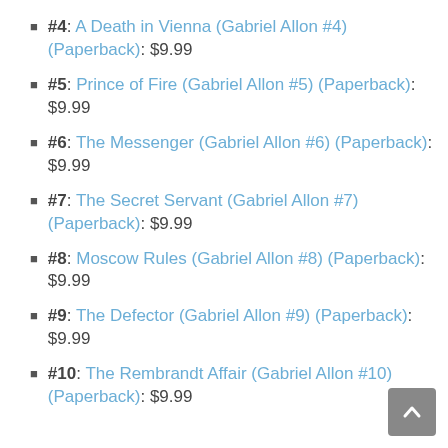#4: A Death in Vienna (Gabriel Allon #4) (Paperback): $9.99
#5: Prince of Fire (Gabriel Allon #5) (Paperback): $9.99
#6: The Messenger (Gabriel Allon #6) (Paperback): $9.99
#7: The Secret Servant (Gabriel Allon #7) (Paperback): $9.99
#8: Moscow Rules (Gabriel Allon #8) (Paperback): $9.99
#9: The Defector (Gabriel Allon #9) (Paperback): $9.99
#10: The Rembrandt Affair (Gabriel Allon #10) (Paperback): $9.99